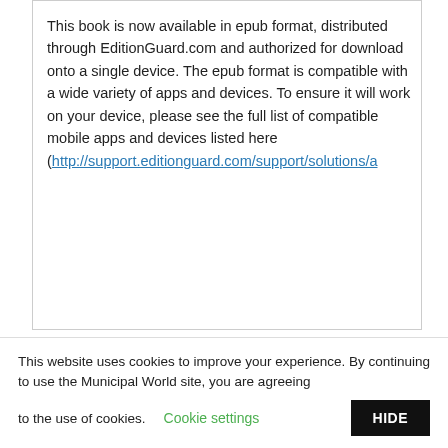This book is now available in epub format, distributed through EditionGuard.com and authorized for download onto a single device. The epub format is compatible with a wide variety of apps and devices. To ensure it will work on your device, please see the full list of compatible mobile apps and devices listed here (http://support.editionguard.com/support/solutions/a...
This website uses cookies to improve your experience. By continuing to use the Municipal World site, you are agreeing to the use of cookies.
Cookie settings
HIDE